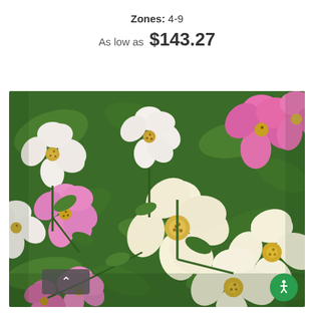Zones: 4-9
As low as  $143.27
[Figure (photo): Close-up photograph of blooming roses in pink, white, and light yellow colors with green foliage in the background.]